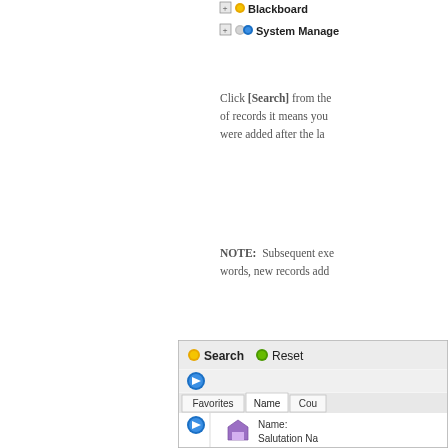[Figure (screenshot): Top portion of a software tree view screenshot showing 'Blackboard' and 'System Manage...' nodes with expand icons]
Click [Search] from the of records it means you were added after the la
NOTE:  Subsequent exe words, new records add
[Figure (screenshot): Bottom portion of a software dialog screenshot showing Search/Reset buttons, a navigation icon, Favorites/Name/Cou tabs, and a Name/Salutation Na form]